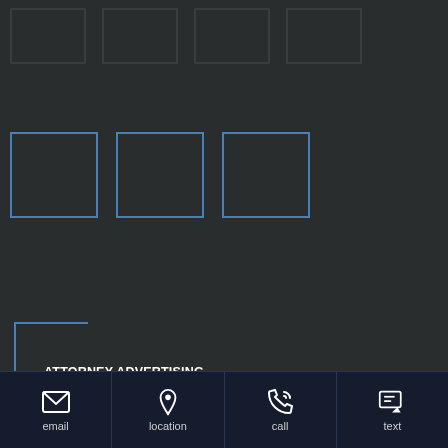[Figure (illustration): Decorative grid of grey/dark squares in two rows on dark background]
ATTORNEY ADVERTISING
DISCLAIMER: Please remember that prior results cannot and do not guarantee or predict a similar outcome with respect to any future matter, including yours, in which a lawyer or law firm may be retained. The information provided in this blog is not legal advice, but is provided to give general legal information for educational purposes. Reviewing or accessing this blog does not establish a client-attorney relationship with this Firm.
email  location  call  text